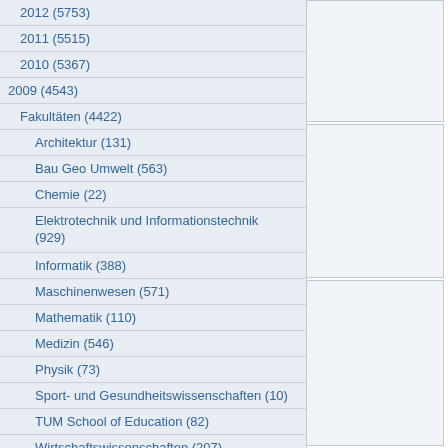2012 (5753)
2011 (5515)
2010 (5367)
2009 (4543)
Fakultäten (4422)
Architektur (131)
Bau Geo Umwelt (563)
Chemie (22)
Elektrotechnik und Informationstechnik (929)
Informatik (388)
Maschinenwesen (571)
Mathematik (110)
Medizin (546)
Physik (73)
Sport- und Gesundheitswissenschaften (10)
TUM School of Education (82)
Wirtschaftswissenschaften (207)
Fachgebiet BWL – Brau-und Lebensmittelindustrie (Prof. Belz) (13)
Forschungsinstitut Unternehmensführung, Logistik und Produktion (Prof. Wildemann) (17)